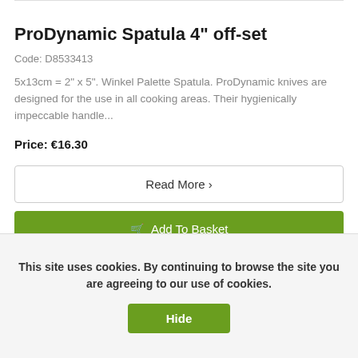ProDynamic Spatula 4" off-set
Code: D8533413
5x13cm = 2" x 5". Winkel Palette Spatula. ProDynamic knives are designed for the use in all cooking areas. Their hygienically impeccable handle...
Price: €16.30
Read More ›
Add To Basket
This site uses cookies. By continuing to browse the site you are agreeing to our use of cookies.
Hide